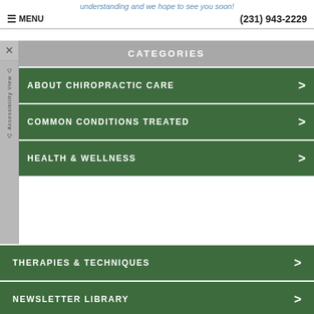understanding and we hope to see you soon!
MENU   (231) 943-2229
CATEGORIES
ABOUT CHIROPRACTIC CARE
COMMON CONDITIONS TREATED
HEALTH & WELLNESS
THERAPIES & TECHNIQUES
NEWSLETTER LIBRARY
WELLNESS4KIDS